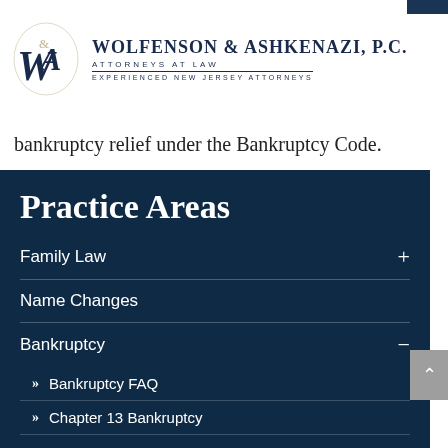Wolfenson & Ashkenazi, P.C. — Attorneys at Law — Experienced New Jersey Attorneys
bankruptcy relief under the Bankruptcy Code.
Practice Areas
Family Law
Name Changes
Bankruptcy
Bankruptcy FAQ
Chapter 13 Bankruptcy